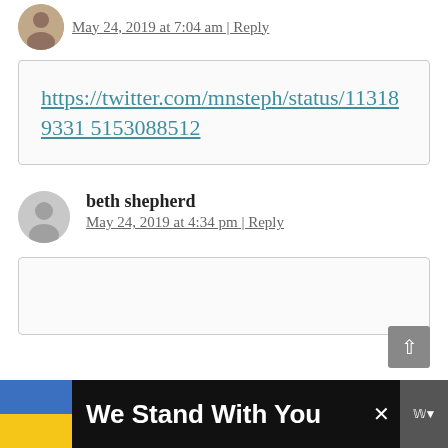May 24, 2019 at 7:04 am | Reply
https://twitter.com/mnsteph/status/113189331 5153088512
beth shepherd
May 24, 2019 at 4:34 pm | Reply
We Stand With You